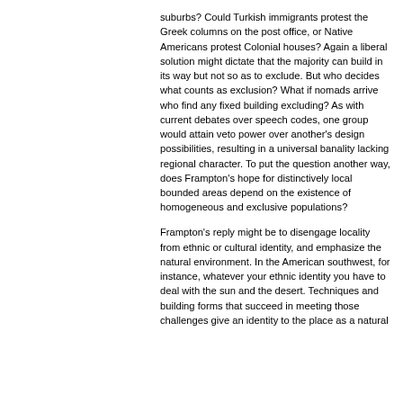suburbs? Could Turkish immigrants protest the Greek columns on the post office, or Native Americans protest Colonial houses? Again a liberal solution might dictate that the majority can build in its way but not so as to exclude. But who decides what counts as exclusion? What if nomads arrive who find any fixed building excluding? As with current debates over speech codes, one group would attain veto power over another's design possibilities, resulting in a universal banality lacking regional character. To put the question another way, does Frampton's hope for distinctively local bounded areas depend on the existence of homogeneous and exclusive populations?
Frampton's reply might be to disengage locality from ethnic or cultural identity, and emphasize the natural environment. In the American southwest, for instance, whatever your ethnic identity you have to deal with the sun and the desert. Techniques and building forms that succeed in meeting those challenges give an identity to the place as a natural